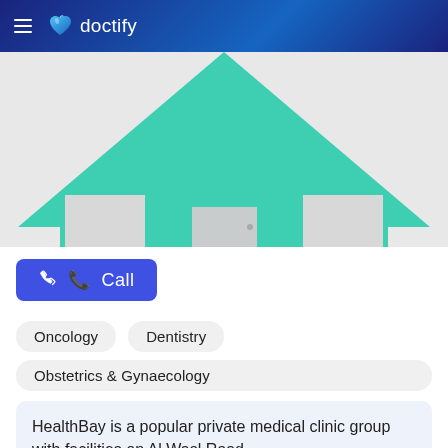doctify
[Figure (illustration): A teal/turquoise flat-design house icon (clinic building) with a triangular roof and rectangular base with windows and door, shown on a light grey background]
Call
Oncology
Dentistry
Obstetrics & Gynaecology
HealthBay is a popular private medical clinic group with facilities on Al Wasl Road
Read more